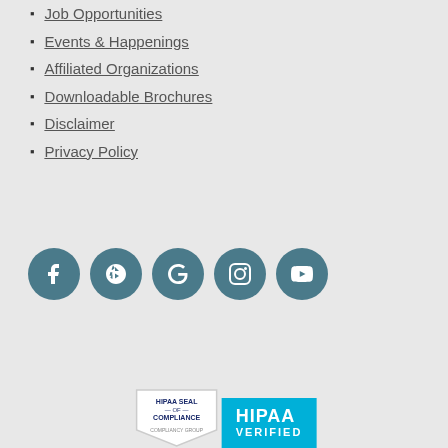Job Opportunities
Events & Happenings
Affiliated Organizations
Downloadable Brochures
Disclaimer
Privacy Policy
[Figure (infographic): Social media icons: Facebook, Yelp, Google, Instagram, YouTube — dark teal circular buttons]
[Figure (other): Request An Appointment button in dark teal]
[Figure (logo): HIPAA Seal of Compliance badge from Compliancy Group and HIPAA Verified blue badge]